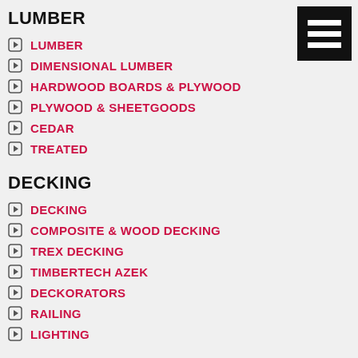LUMBER
LUMBER
DIMENSIONAL LUMBER
HARDWOOD BOARDS & PLYWOOD
PLYWOOD & SHEETGOODS
CEDAR
TREATED
DECKING
DECKING
COMPOSITE & WOOD DECKING
TREX DECKING
TIMBERTECH AZEK
DECKORATORS
RAILING
LIGHTING